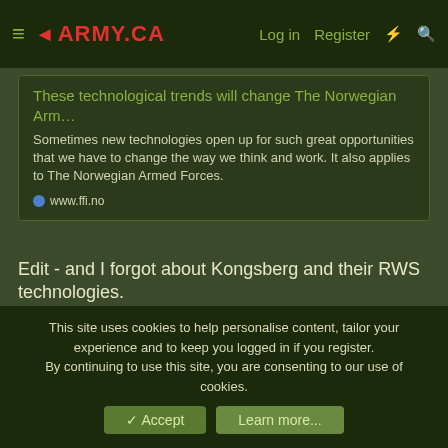≡ ◄ARMY.CA   Log in   Register   ⚡   🔍
These technological trends will change The Norwegian Arm…
Sometimes new technologies open up for such great opportunities that we have to change the way we think and work. It also applies to The Norwegian Armed Forces.
www.ffi.no
Edit - and I forgot about Kongsberg and their RWS technologies.
Last edited: 11 Dec 2021
KevinB
Army.ca Legend  Subscriber
11 Dec 2021
#2,790
This site uses cookies to help personalise content, tailor your experience and to keep you logged in if you register.
By continuing to use this site, you are consenting to our use of cookies.
✓ Accept   Learn more...